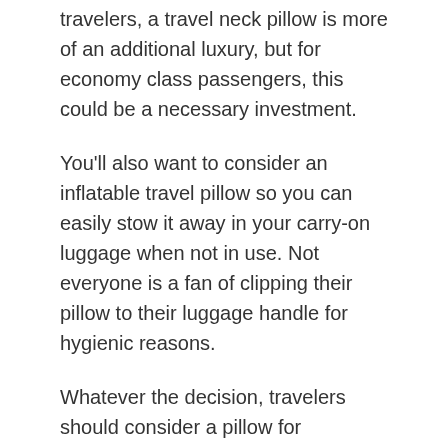travelers, a travel neck pillow is more of an additional luxury, but for economy class passengers, this could be a necessary investment.
You'll also want to consider an inflatable travel pillow so you can easily stow it away in your carry-on luggage when not in use. Not everyone is a fan of clipping their pillow to their luggage handle for hygienic reasons.
Whatever the decision, travelers should consider a pillow for themselves, friends, and family to improve travel quality.
Frequently Asked